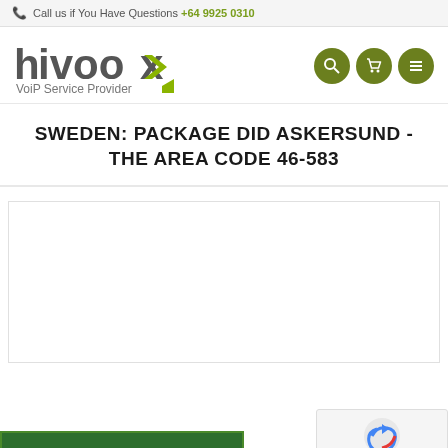Call us if You Have Questions +64 9925 0310
[Figure (logo): hivoox VoiP Service Provider logo with green stylized 'x']
SWEDEN: PACKAGE DID ASKERSUND - THE AREA CODE 46-583
Help Desk Ticket